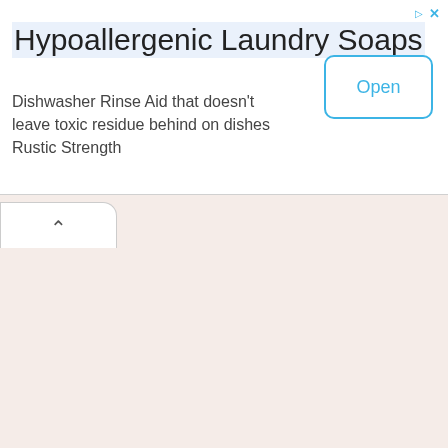Hypoallergenic Laundry Soaps
Dishwasher Rinse Aid that doesn't leave toxic residue behind on dishes Rustic Strength
[Figure (other): Open button with blue border and blue text on white background]
[Figure (other): Browser tab UI element showing a chevron/caret up icon on a white rounded tab above a warm beige content area]